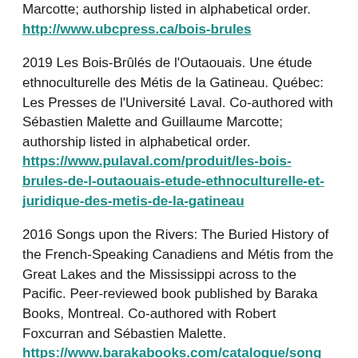Marcotte; authorship listed in alphabetical order. http://www.ubcpress.ca/bois-brules
2019 Les Bois-Brûlés de l'Outaouais. Une étude ethnoculturelle des Métis de la Gatineau. Québec: Les Presses de l'Université Laval. Co-authored with Sébastien Malette and Guillaume Marcotte; authorship listed in alphabetical order. https://www.pulaval.com/produit/les-bois-brules-de-l-outaouais-etude-ethnoculturelle-et-juridique-des-metis-de-la-gatineau
2016 Songs upon the Rivers: The Buried History of the French-Speaking Canadiens and Métis from the Great Lakes and the Mississippi across to the Pacific. Peer-reviewed book published by Baraka Books, Montreal. Co-authored with Robert Foxcurran and Sébastien Malette. https://www.barakabooks.com/catalogue/song...